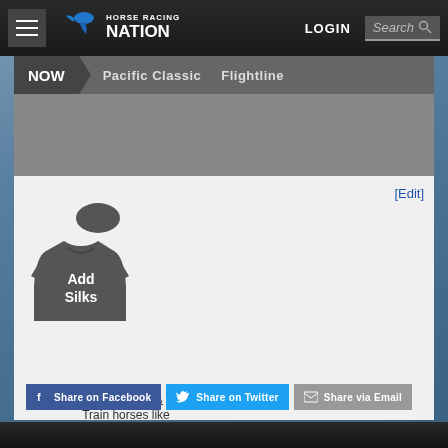Horse Racing Nation | LOGIN | Search
NOW > Pacific Classic   Flightline
[Figure (illustration): Gray jockey silks/jersey icon with text 'Add Silks']
Breed, Own & Train horses like Log House in DerbyVille!
Log House
Share on Facebook   Share on Twitter   Share via Email